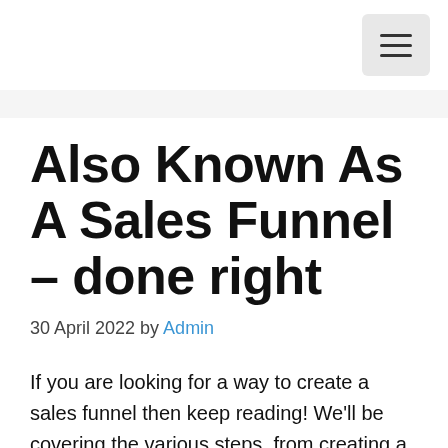≡
Also Known As A Sales Funnel – done right
30 April 2022 by Admin
If you are looking for a way to create a sales funnel then keep reading! We'll be covering the various steps, from creating a